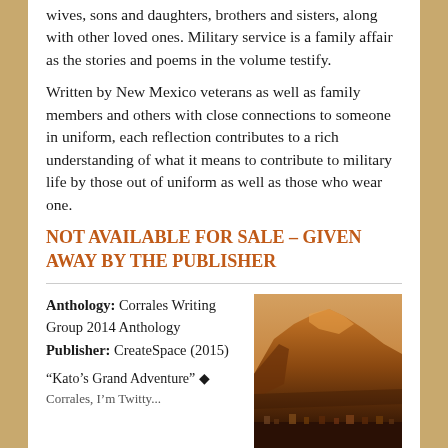wives, sons and daughters, brothers and sisters, along with other loved ones. Military service is a family affair as the stories and poems in the volume testify.
Written by New Mexico veterans as well as family members and others with close connections to someone in uniform, each reflection contributes to a rich understanding of what it means to contribute to military life by those out of uniform as well as those who wear one.
NOT AVAILABLE FOR SALE – GIVEN AWAY BY THE PUBLISHER
Anthology: Corrales Writing Group 2014 Anthology
Publisher: CreateSpace (2015)
[Figure (photo): Book cover photo showing desert mountain landscape with the Corrales Writing Group label at the bottom]
“Kato’s Grand Adventure” ♦ Corrales, I’m Twitty...